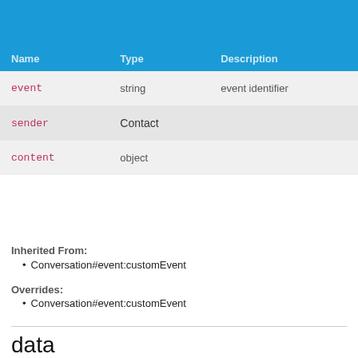| Name | Type | Description |
| --- | --- | --- |
| event | string | event identifier |
| sender | Contact |  |
| content | object |  |
Inherited From:
Conversation#event:customEvent
Overrides:
Conversation#event:customEvent
data
Fired when data is received from a contact within the conversation
Type: object
Properties: